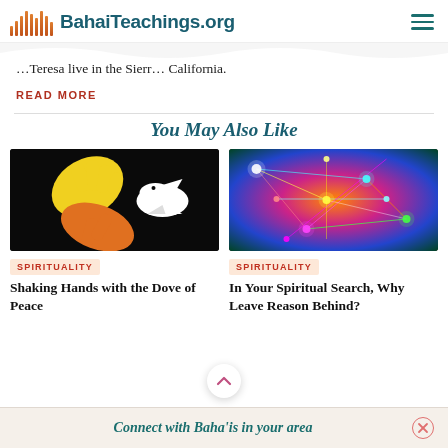BahaiTeachings.org
…Teresa live in the Sierra… California.
READ MORE
You May Also Like
[Figure (illustration): Colorful hands (yellow, orange) reaching toward a white dove silhouette on a black background]
SPIRITUALITY
Shaking Hands with the Dove of Peace
[Figure (illustration): Colorful glowing neural network or light connections on a dark background with rainbow colors]
SPIRITUALITY
In Your Spiritual Search, Why Leave Reason Behind?
Connect with Baha'is in your area